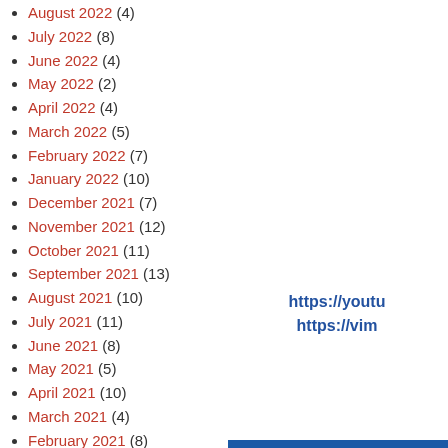August 2022 (4)
July 2022 (8)
June 2022 (4)
May 2022 (2)
April 2022 (4)
March 2022 (5)
February 2022 (7)
January 2022 (10)
December 2021 (7)
November 2021 (12)
October 2021 (11)
September 2021 (13)
August 2021 (10)
July 2021 (11)
June 2021 (8)
May 2021 (5)
April 2021 (10)
March 2021 (4)
February 2021 (8)
January 2021 (20)
December 2020 (16)
November 2020 (19)
October 2020 (12)
September 2020 (11)
August 2020 (15)
https://youtu... https://vim...
[Figure (illustration): Ukraine flag — top half blue, bottom half yellow]